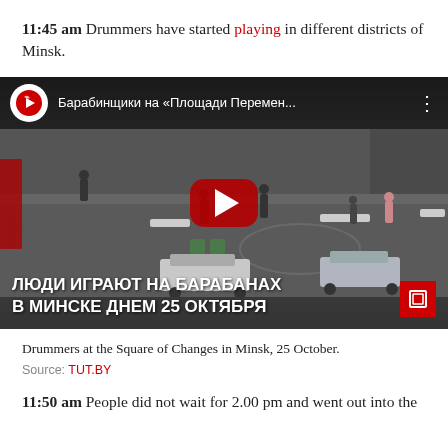11:45 am Drummers have started playing in different districts of Minsk.
[Figure (screenshot): YouTube video thumbnail showing a security camera view of a public square in Minsk with people and cars. Video title overlay: ЛЮДИ ИГРАЮТ НА БАРАБАНАХ В МИНСКЕ ДНЕМ 25 ОКТЯБРЯ. Channel name: Барабинщики на «Площади Перемен...». Red play button in center.]
Drummers at the Square of Changes in Minsk, 25 October.
Source: TUT.BY
11:50 am People did not wait for 2.00 pm and went out into the